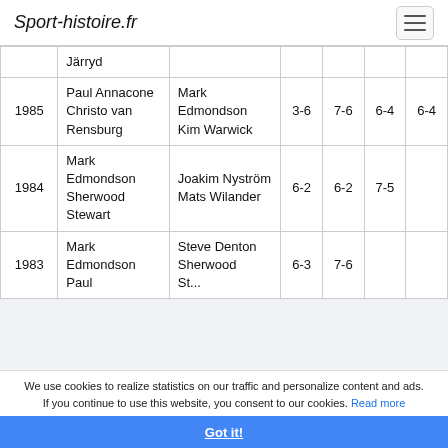Sport-histoire.fr
| Year | Winners | Runners-up | S1 | S2 | S3 | S4 |
| --- | --- | --- | --- | --- | --- | --- |
|  | Järryd |  |  |  |  |  |
| 1985 | Paul Annacone
Christo van Rensburg | Mark Edmondson
Kim Warwick | 3-6 | 7-6 | 6-4 | 6-4 |
| 1984 | Mark Edmondson
Sherwood Stewart | Joakim Nyström
Mats Wilander | 6-2 | 6-2 | 7-5 |  |
| 1983 | Mark Edmondson
Paul ... | Steve Denton
Sherwood Stewart... | 6-3 | 7-6 |  |  |
We use cookies to realize statistics on our traffic and personalize content and ads. If you continue to use this website, you consent to our cookies. Read more
Got it!